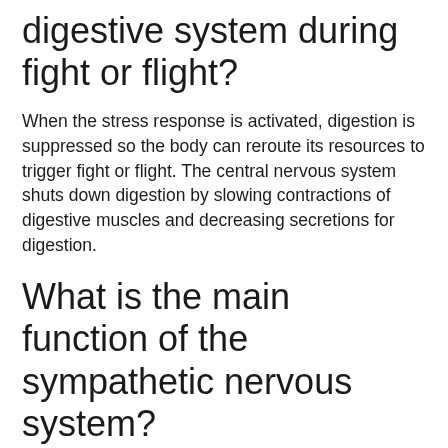digestive system during fight or flight?
When the stress response is activated, digestion is suppressed so the body can reroute its resources to trigger fight or flight. The central nervous system shuts down digestion by slowing contractions of digestive muscles and decreasing secretions for digestion.
What is the main function of the sympathetic nervous system?
The sympathetic nervous system connects the internal organs to the brain by spinal